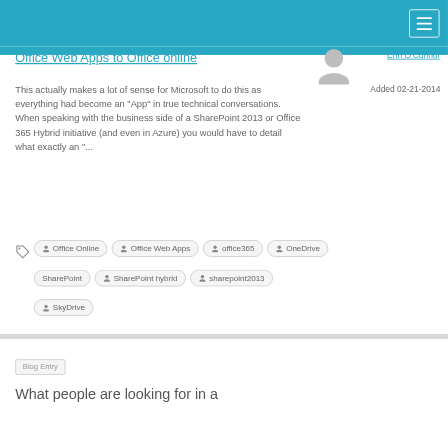Office Web Apps to Office online
This actually makes a lot of sense for Microsoft to do this as everything had become an "App" in true technical conversations. When speaking with the business side of a SharePoint 2013 or Office 365 Hybrid initiative (and even in Azure) you would have to detail what exactly an "...
Erin O'Connor
Added 02-21-2014
Office Online
Office Web Apps
office365
OneDrive
SharePoint
SharePoint hybrid
sharepoint2013
SkyDrive
Blog Entry
What people are looking for in a